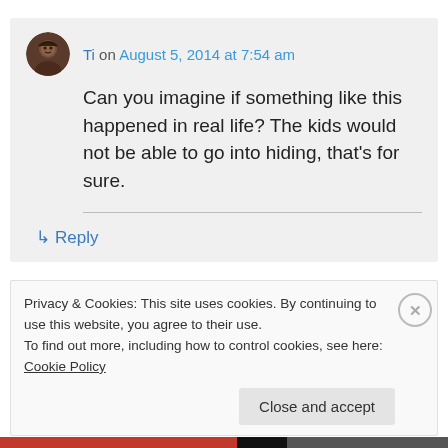Ti on August 5, 2014 at 7:54 am
Can you imagine if something like this happened in real life? The kids would not be able to go into hiding, that's for sure.
↳ Reply
Privacy & Cookies: This site uses cookies. By continuing to use this website, you agree to their use.
To find out more, including how to control cookies, see here: Cookie Policy
Close and accept